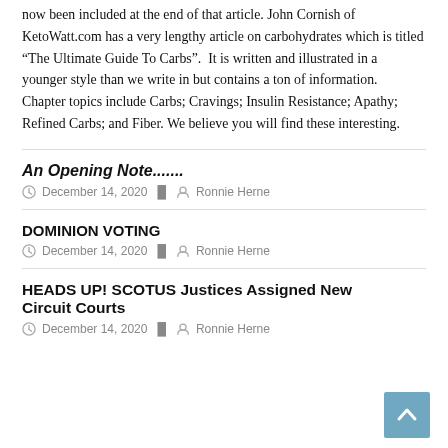now been included at the end of that article. John Cornish of KetoWatt.com has a very lengthy article on carbohydrates which is titled “The Ultimate Guide To Carbs”.  It is written and illustrated in a younger style than we write in but contains a ton of information.  Chapter topics include Carbs; Cravings; Insulin Resistance; Apathy; Refined Carbs; and Fiber. We believe you will find these interesting.
An Opening Note.......
December 14, 2020   Ronnie Herne
DOMINION VOTING
December 14, 2020   Ronnie Herne
HEADS UP! SCOTUS Justices Assigned New Circuit Courts
December 14, 2020   Ronnie Herne